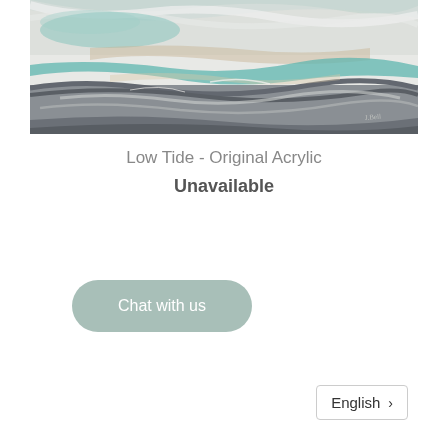[Figure (illustration): Abstract acrylic painting titled 'Low Tide' showing layered horizontal bands of teal, grey, white, and beige tones suggesting a seascape at low tide. Artist signature visible in lower right corner.]
Low Tide - Original Acrylic
Unavailable
Chat with us
English >